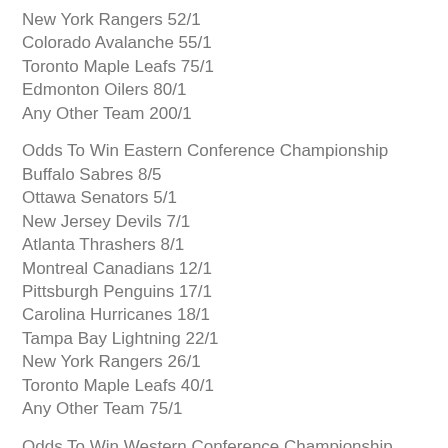New York Rangers 52/1
Colorado Avalanche 55/1
Toronto Maple Leafs 75/1
Edmonton Oilers 80/1
Any Other Team 200/1
Odds To Win Eastern Conference Championship
Buffalo Sabres 8/5
Ottawa Senators 5/1
New Jersey Devils 7/1
Atlanta Thrashers 8/1
Montreal Canadians 12/1
Pittsburgh Penguins 17/1
Carolina Hurricanes 18/1
Tampa Bay Lightning 22/1
New York Rangers 26/1
Toronto Maple Leafs 40/1
Any Other Team 75/1
Odds To Win Western Conference Championship
Anaheim Ducks 3/1
San Jose Sharks 4/1